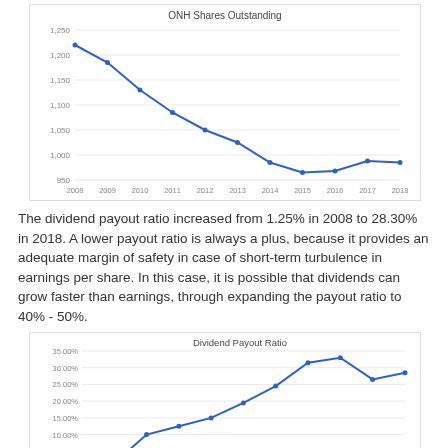[Figure (line-chart): ONH Shares Outstanding]
The dividend payout ratio increased from 1.25% in 2008 to 28.30% in 2018. A lower payout ratio is always a plus, because it provides an adequate margin of safety in case of short-term turbulence in earnings per share. In this case, it is possible that dividends can grow faster than earnings, through expanding the payout ratio to 40% - 50%.
[Figure (line-chart): Dividend Payout Ratio]